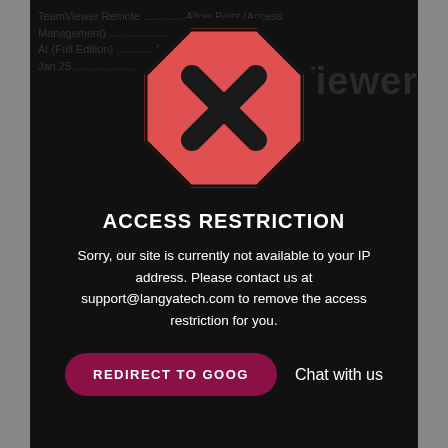[Figure (illustration): Red octagonal stop sign with a black X inside, representing an access restriction or blocked symbol]
ACCESS RESTRICTION
Sorry, our site is currently not available to your IP address. Please contact us at support@langyatech.com to remove the access restriction for you.
REDIRECT TO GOOG   Chat with us